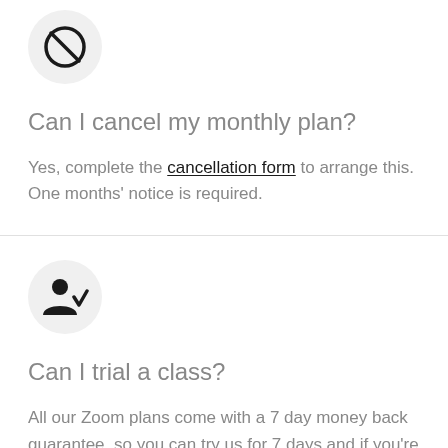[Figure (illustration): A prohibition/cancel icon (circle with a diagonal slash through it) inside a light gray circle background]
Can I cancel my monthly plan?
Yes, complete the cancellation form to arrange this. One months' notice is required.
[Figure (illustration): A person/user icon with a checkmark beside it, inside a light gray circle background]
Can I trial a class?
All our Zoom plans come with a 7 day money back guarantee, so you can try us for 7 days and if you're not satisfied – we will refund you